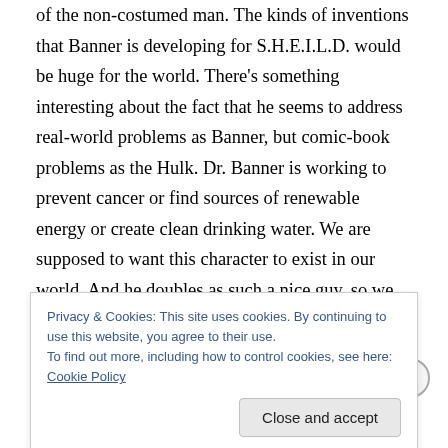of the non-costumed man. The kinds of inventions that Banner is developing for S.H.E.I.L.D. would be huge for the world. There's something interesting about the fact that he seems to address real-world problems as Banner, but comic-book problems as the Hulk. Dr. Banner is working to prevent cancer or find sources of renewable energy or create clean drinking water. We are supposed to want this character to exist in our world. And he doubles as such a nice guy, so we usually do.

That leaves us with Hulk as our comic book hero. So far,
Privacy & Cookies: This site uses cookies. By continuing to use this website, you agree to their use.
To find out more, including how to control cookies, see here: Cookie Policy